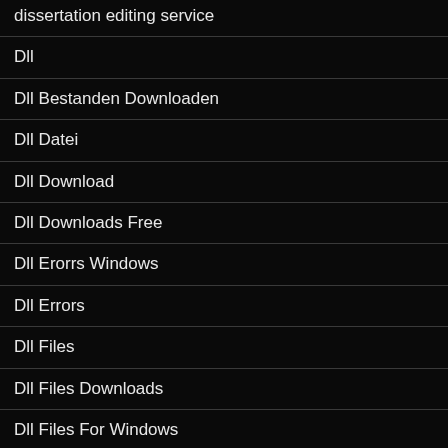dissertation editing service
Dll
Dll Bestanden Downloaden
Dll Datei
Dll Download
Dll Downloads Free
Dll Erorrs Windows
Dll Errors
Dll Files
Dll Files Downloads
Dll Files For Windows
Dll nedlasting
Dll sicuro